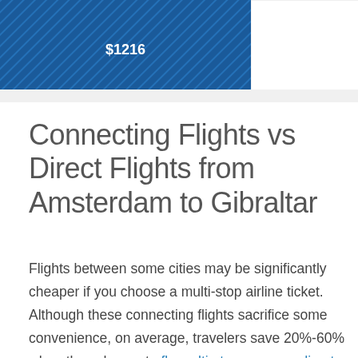[Figure (bar-chart): Partial bar chart visible at top of page showing a blue hatched bar labeled $1216, with additional empty columns to the right. Only the top portion of the chart is visible.]
Connecting Flights vs Direct Flights from Amsterdam to Gibraltar
Flights between some cities may be significantly cheaper if you choose a multi-stop airline ticket. Although these connecting flights sacrifice some convenience, on average, travelers save 20%-60% when they choose to fly multi-stop versus a direct flight